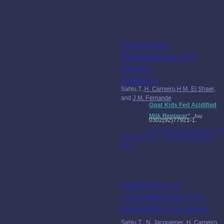Production Performance and Physio... Replacer
Sahlu,T., H. Carneiro, H M. El Shaer, and J M. Fernande...
Goat Kids Fed Acidified Milk Replacer". Jou... 0302(92)77921-1. http://linkinghub.elsevier.com/...
Read more   Google Scholar   DOI
Application of <sup>13</sup> CO... expenditure in goats
Sahlu,T., N. Jacquemer, H. Carneiro, S. P. Hart, and P.D ...
Expenditure In Goats". Canadian Journal Of An... http://pubs.nrc.ca/doi/abs/10.4141/cjas92-031.
Read more   Google Scholar   DOI